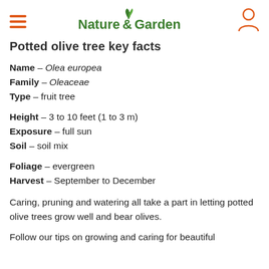Nature & Garden
Potted olive tree key facts
Name – Olea europea
Family – Oleaceae
Type – fruit tree
Height – 3 to 10 feet (1 to 3 m)
Exposure – full sun
Soil – soil mix
Foliage – evergreen
Harvest – September to December
Caring, pruning and watering all take a part in letting potted olive trees grow well and bear olives.
Follow our tips on growing and caring for beautiful